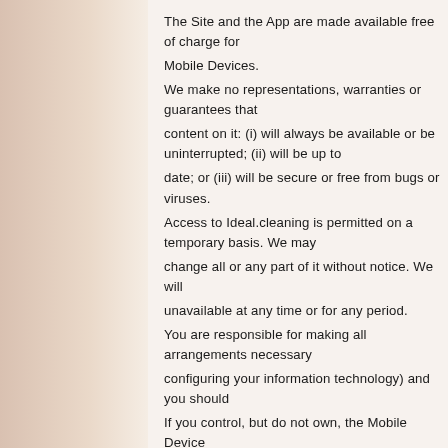The Site and the App are made available free of charge for Mobile Devices. We make no representations, warranties or guarantees that content on it: (i) will always be available or be uninterrupted; (ii) will be up to date; or (iii) will be secure or free from bugs or viruses. Access to Ideal.cleaning is permitted on a temporary basis. We may change all or any part of it without notice. We will not be liable if it is unavailable at any time or for any period. You are responsible for making all arrangements necessary (including configuring your information technology) and you should ensure that If you control, but do not own, the Mobile Device on which you access Ideal.cleaning, you warrant to have obtained permission from the owner of the Mobile Device to do so. Accessing Ideal.cleaning using a Mobile Device may be charged by your or their mobile or internet service provider. Charges will depend on your Mobile Device. You accept responsibility in accordance with these terms for use of Ideal.cleaning on any Mobile Device, whether or not it is owned by you.
Registration and security